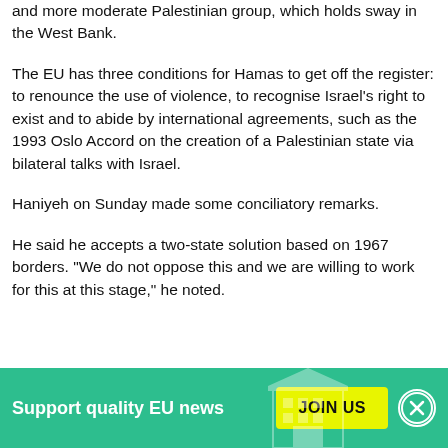and more moderate Palestinian group, which holds sway in the West Bank.
The EU has three conditions for Hamas to get off the register: to renounce the use of violence, to recognise Israel's right to exist and to abide by international agreements, such as the 1993 Oslo Accord on the creation of a Palestinian state via bilateral talks with Israel.
Haniyeh on Sunday made some conciliatory remarks.
He said he accepts a two-state solution based on 1967 borders. "We do not oppose this and we are willing to work for this at this stage," he noted.
[Figure (infographic): Green promotional banner at the bottom of the page with text 'Support quality EU news', a yellow 'JOIN US' button, a close button with X, and a faint building/parliament icon.]